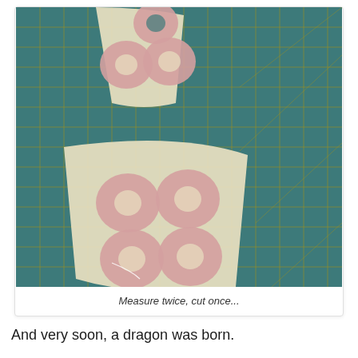[Figure (photo): Photo of copper/pink metal washers arranged on fabric pieces laid on a teal cutting mat with grid lines. The fabric pieces are cut into curved shapes. Six large washers are arranged on the larger lower piece in a 2x2 plus 2 pattern, and smaller washers visible on the upper piece.]
Measure twice, cut once...
And very soon, a dragon was born.